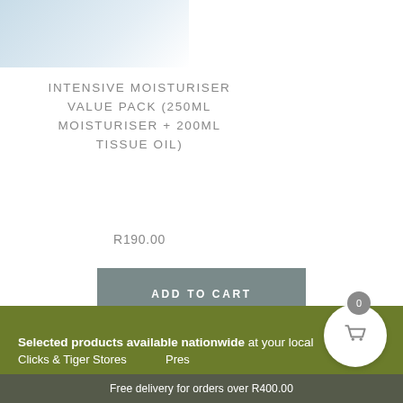[Figure (photo): Product image thumbnail showing moisturiser value pack, light blue-grey background]
INTENSIVE MOISTURISER VALUE PACK (250ML MOISTURISER + 200ML TISSUE OIL)
R190.00
ADD TO CART
Showing all 7 results
Selected products available nationwide at your local Clicks & Tiger Stores … Free delivery for orders over R400.00